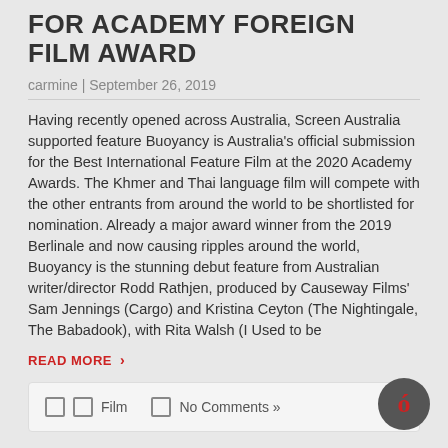FOR ACADEMY FOREIGN FILM AWARD
carmine | September 26, 2019
Having recently opened across Australia, Screen Australia supported feature Buoyancy is Australia's official submission for the Best International Feature Film at the 2020 Academy Awards. The Khmer and Thai language film will compete with the other entrants from around the world to be shortlisted for nomination. Already a major award winner from the 2019 Berlinale and now causing ripples around the world, Buoyancy is the stunning debut feature from Australian writer/director Rodd Rathjen, produced by Causeway Films' Sam Jennings (Cargo) and Kristina Ceyton (The Nightingale, The Babadook), with Rita Walsh (I Used to be
READ MORE ›
Film   No Comments »